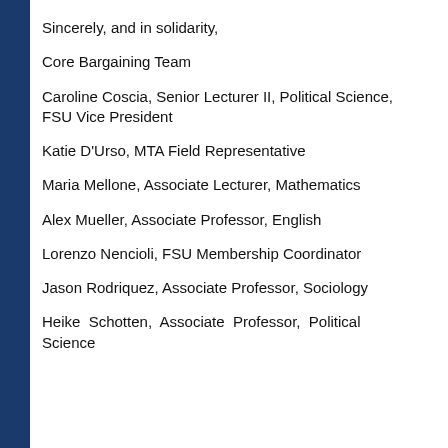Sincerely, and in solidarity,
Core Bargaining Team
Caroline Coscia, Senior Lecturer II, Political Science, FSU Vice President
Katie D'Urso, MTA Field Representative
Maria Mellone, Associate Lecturer, Mathematics
Alex Mueller, Associate Professor, English
Lorenzo Nencioli, FSU Membership Coordinator
Jason Rodriquez, Associate Professor, Sociology
Heike Schotten, Associate Professor, Political Science